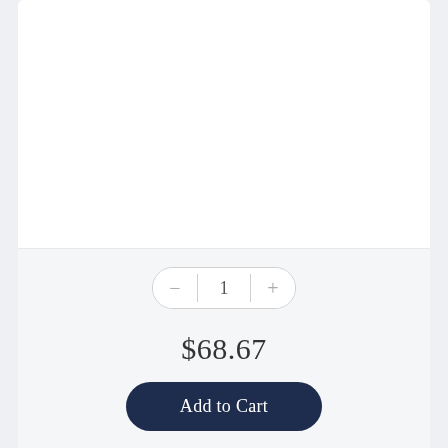[Figure (screenshot): Quantity selector control with minus button, value '1', and plus button, displayed as a pill-shaped widget]
$68.67
Add to Cart
[Figure (infographic): Four circular social sharing icons: Facebook, Twitter, Google+, Pinterest — all in light gray]
DOCUMENTS
BRACKETS | CORBELS